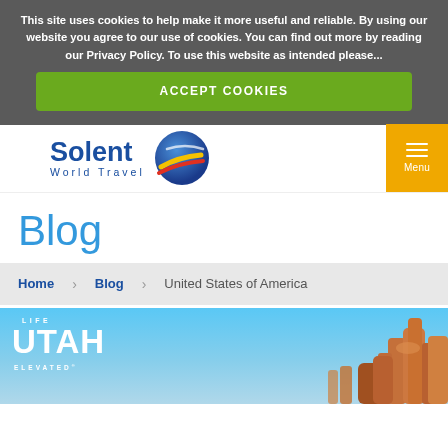This site uses cookies to help make it more useful and reliable. By using our website you agree to our use of cookies. You can find out more by reading our Privacy Policy. To use this website as intended please...
ACCEPT COOKIES
[Figure (logo): Solent World Travel logo with globe icon and text]
Blog
Home   Blog   United States of America
[Figure (photo): Utah Life Elevated promotional image with red rock formations and blue sky]